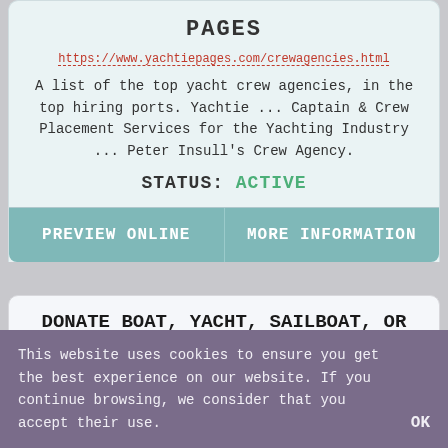PAGES
https://www.yachtiepages.com/crewagencies.html
A list of the top yacht crew agencies, in the top hiring ports. Yachtie ... Captain & Crew Placement Services for the Yachting Industry ... Peter Insull's Crew Agency.
STATUS: ACTIVE
PREVIEW ONLINE
MORE INFORMATION
DONATE BOAT, YACHT, SAILBOAT, OR PWC - AMERICAN BOAT AND YACHT ...
https://abycinc.org/page/boatdonationprogram
This website uses cookies to ensure you get the best experience on our website. If you continue browsing, we consider that you accept their use.